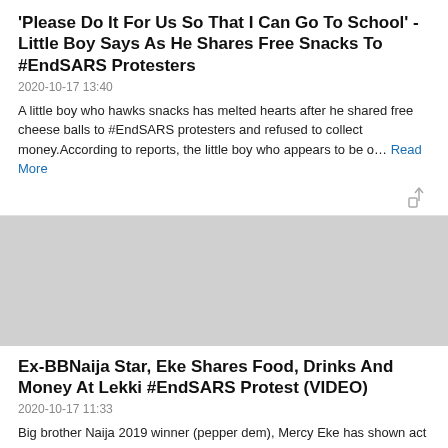'Please Do It For Us So That I Can Go To School' - Little Boy Says As He Shares Free Snacks To #EndSARS Protesters
2020-10-17 13:40
A little boy who hawks snacks has melted hearts after he shared free cheese balls to #EndSARS protesters and refused to collect money.According to reports, the little boy who appears to be o… Read More
[Figure (illustration): Gray image placeholder for article about Ex-BBNaija Star]
Ex-BBNaija Star, Eke Shares Food, Drinks And Money At Lekki #EndSARS Protest (VIDEO)
2020-10-17 11:33
Big brother Naija 2019 winner (pepper dem), Mercy Eke has shown act of generosity to protesters at the Lekki toll gate in Lagos.The ex-BBNaija star was seen yesterday sharing some food items… Read More
Reality Star, Ozo Mocked After He Was Unable To